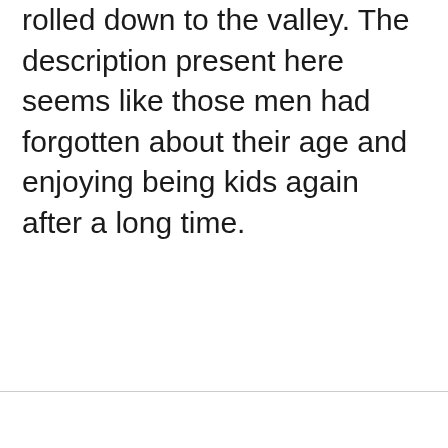rolled down to the valley. The description present here seems like those men had forgotten about their age and enjoying being kids again after a long time.